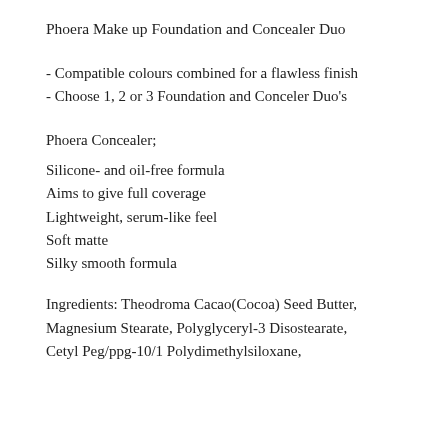Phoera Make up Foundation and Concealer Duo
- Compatible colours combined for a flawless finish
- Choose 1, 2 or 3 Foundation and Conceler Duo's
Phoera Concealer;
Silicone- and oil-free formula
Aims to give full coverage
Lightweight, serum-like feel
Soft matte
Silky smooth formula
Ingredients: Theodroma Cacao(Cocoa) Seed Butter, Magnesium Stearate, Polyglyceryl-3 Disostearate, Cetyl Peg/ppg-10/1 Polydimethylsiloxane,